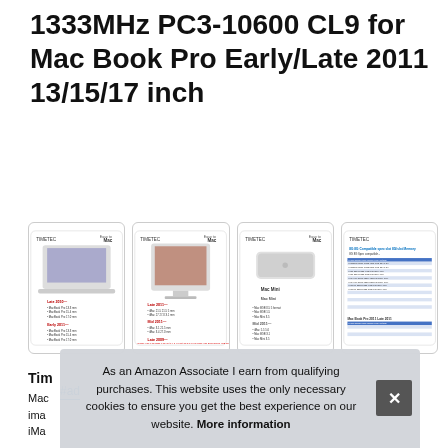1333MHz PC3-10600 CL9 for Mac Book Pro Early/Late 2011 13/15/17 inch
#ad
[Figure (screenshot): Row of four product specification card images for Timetec Mac memory modules showing MacBook Pro, iMac, Mac Mini, and compatibility table]
Tim
Mac
ima
iMa
As an Amazon Associate I earn from qualifying purchases. This website uses the only necessary cookies to ensure you get the best experience on our website. More information